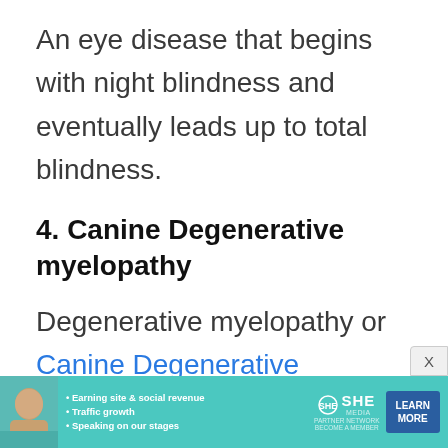An eye disease that begins with night blindness and eventually leads up to total blindness.
4. Canine Degenerative myelopathy
Degenerative myelopathy or Canine Degenerative Myelopathy is a health condition that affects the spine, nervous system, and the brain stem of a Corgi